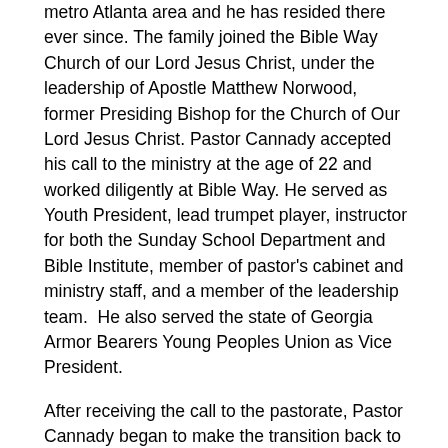metro Atlanta area and he has resided there ever since. The family joined the Bible Way Church of our Lord Jesus Christ, under the leadership of Apostle Matthew Norwood, former Presiding Bishop for the Church of Our Lord Jesus Christ. Pastor Cannady accepted his call to the ministry at the age of 22 and worked diligently at Bible Way. He served as Youth President, lead trumpet player, instructor for both the Sunday School Department and Bible Institute, member of pastor's cabinet and ministry staff, and a member of the leadership team.  He also served the state of Georgia Armor Bearers Young Peoples Union as Vice President.
After receiving the call to the pastorate, Pastor Cannady began to make the transition back to the Way of the Cross Church of Christ, Int. and began working closely with Bishop Earley Dillard of Martinsville, VA. Bishop Dillard served as a pastor and mentor as the plans were being developed for the new ministry.  God has given him the honor and privilege of working with three very fine pastors who have provided a wealth of knowledge and wisdom.  These men also placed a lasting impression on the value of serving the Lord from your heart.